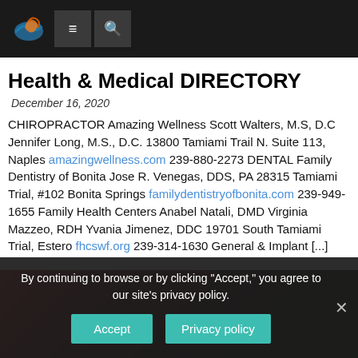Health & Medical DIRECTORY
December 16, 2020
CHIROPRACTOR Amazing Wellness Scott Walters, M.S, D.C Jennifer Long, M.S., D.C. 13800 Tamiami Trail N. Suite 113, Naples amazingwellness.com 239-880-2273 DENTAL Family Dentistry of Bonita Jose R. Venegas, DDS, PA 28315 Tamiami Trial, #102 Bonita Springs familydentistryofbonita.com 239-949-1655 Family Health Centers Anabel Natali, DMD Virginia Mazzeo, RDH Yvania Jimenez, DDC 19701 South Tamiami Trial, Estero fhcswf.org 239-314-1630 General & Implant [...]
By continuing to browse or by clicking "Accept," you agree to our site's privacy policy.